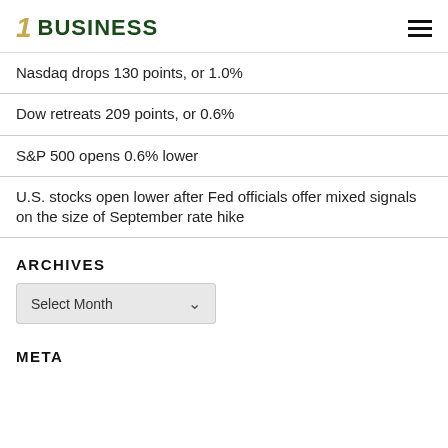1 BUSINESS
Nasdaq drops 130 points, or 1.0%
Dow retreats 209 points, or 0.6%
S&P 500 opens 0.6% lower
U.S. stocks open lower after Fed officials offer mixed signals on the size of September rate hike
ARCHIVES
Select Month
META